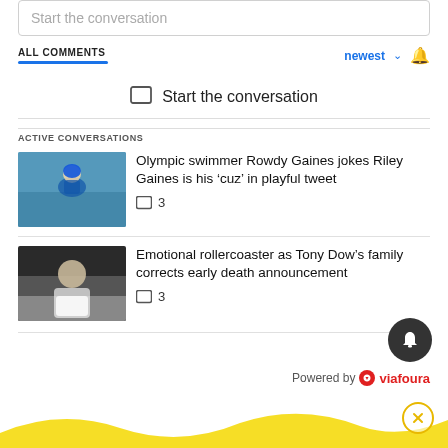Start the conversation
ALL COMMENTS
Start the conversation
ACTIVE CONVERSATIONS
Olympic swimmer Rowdy Gaines jokes Riley Gaines is his 'cuz' in playful tweet
3
Emotional rollercoaster as Tony Dow's family corrects early death announcement
3
Powered by viafoura